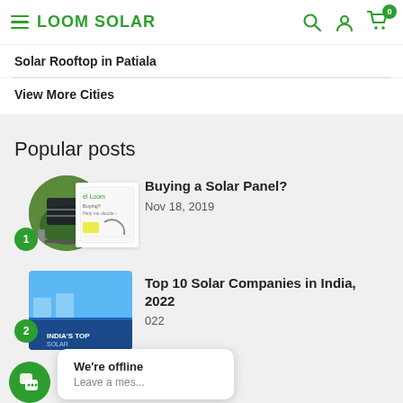LOOM SOLAR
Solar Rooftop in Patiala
View More Cities
Popular posts
[Figure (photo): Thumbnail images for post 1: circular photo of solar panel on grass and a book cover]
Buying a Solar Panel?
Nov 18, 2019
[Figure (photo): Thumbnail image for post 2: solar panels with blue sky]
Top 10 Solar Companies in India, 2022
022
We're offline
Leave a mes...